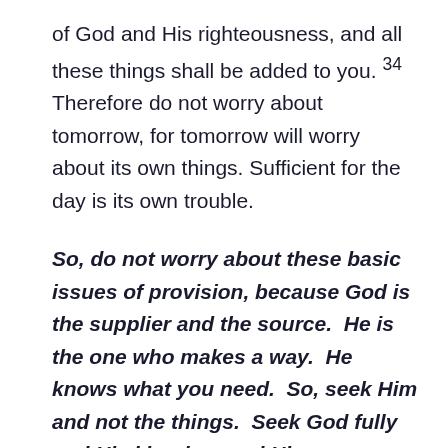of God and His righteousness, and all these things shall be added to you. 34 Therefore do not worry about tomorrow, for tomorrow will worry about its own things. Sufficient for the day is its own trouble.
So, do not worry about these basic issues of provision, because God is the supplier and the source. He is the one who makes a way. He knows what you need. So, seek Him and not the things. Seek God fully and His kingdom and His righteousness. The stuff you need will be supplied. Work hard, be responsible, don't